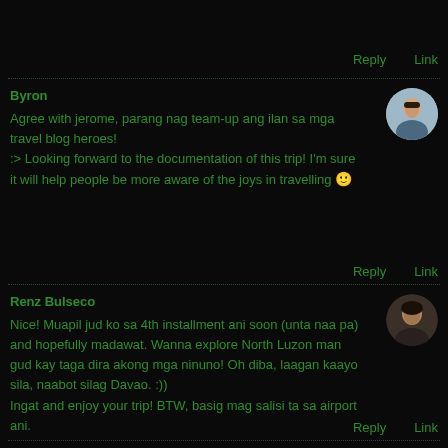Reply   Link
Byron
Agree with jerome, parang nag team-up ang ilan sa mga travel blog heroes!
:> Looking forward to the documentation of this trip! I'm sure it will help people be more aware of the joys in travelling 🙂
Reply   Link
Renz Bulseco
Nice! Muapil jud ko sa 4th installment ani soon (unta naa pa) and hopefully madawat. Wanna explore North Luzon man gud kay taga dira akong mga ninuno! Oh diba, laagan kaayo sila, naabot silag Davao. :))
Ingat and enjoy your trip! BTW, basig mag salisi ta sa airport ani.
Reply   Link